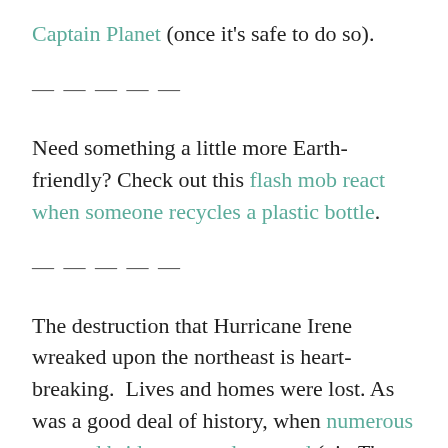Captain Planet (once it's safe to do so).
— — — — —
Need something a little more Earth-friendly? Check out this flash mob react when someone recycles a plastic bottle.
— — — — —
The destruction that Hurricane Irene wreaked upon the northeast is heart-breaking.  Lives and homes were lost. As was a good deal of history, when numerous covered bridges were destroyed (via The